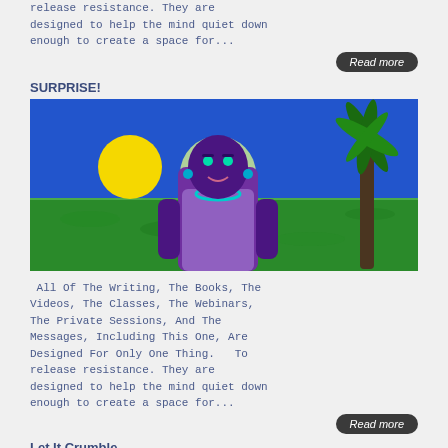release resistance. They are designed to help the mind quiet down enough to create a space for...
Read more
SURPRISE!
[Figure (illustration): Colorful illustration of a purple-skinned person with a halo/white aura around head, standing in front of a green tropical landscape with a yellow sun, blue sky, and a palm tree on the right.]
All Of The Writing, The Books, The Videos, The Classes, The Webinars, The Private Sessions, And The Messages, Including This One, Are Designed For Only One Thing.   To release resistance. They are designed to help the mind quiet down enough to create a space for...
Read more
Let It Crumble
[Figure (photo): Black and white photograph showing crumbling or eroded landscape/texture.]